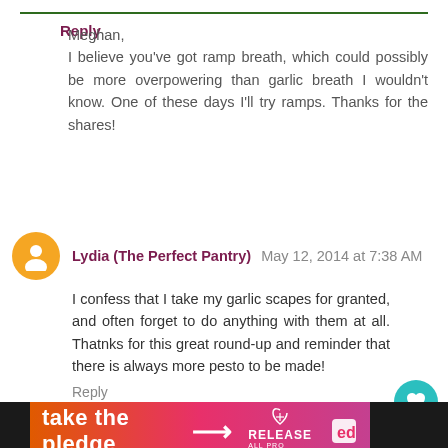Meghan,
I believe you've got ramp breath, which could possibly be more overpowering than garlic breath I wouldn't know. One of these days I'll try ramps. Thanks for the shares!
Reply
Lydia (The Perfect Pantry)  May 12, 2014 at 7:38 AM
I confess that I take my garlic scapes for granted, and often forget to do anything with them at all. Thatnks for this great round-up and reminder that there is always more pesto to be made!
Reply
Replies
Kirsten  May 19, 2014 at 10:42 AM
[Figure (infographic): Orange banner ad reading 'take the pledge' with arrow, Release logo and ed logo icons]